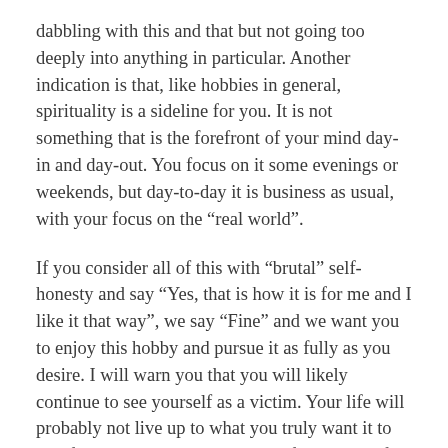dabbling with this and that but not going too deeply into anything in particular. Another indication is that, like hobbies in general, spirituality is a sideline for you. It is not something that is the forefront of your mind day-in and day-out. You focus on it some evenings or weekends, but day-to-day it is business as usual, with your focus on the “real world”.
If you consider all of this with “brutal” self-honesty and say “Yes, that is how it is for me and I like it that way”, we say “Fine” and we want you to enjoy this hobby and pursue it as fully as you desire. I will warn you that you will likely continue to see yourself as a victim. Your life will probably not live up to what you truly want it to be. If your response is that some of this is true for you, but you are not sure how you feel about it, let’s discuss it a little further. If you want to experience, spiritual growth or – beyond that, realize your ascension – spirituality as a hobby will never get you there. If it is a sideline for you, there will only be marginal changes in your life. Is that fine with you?  If so,